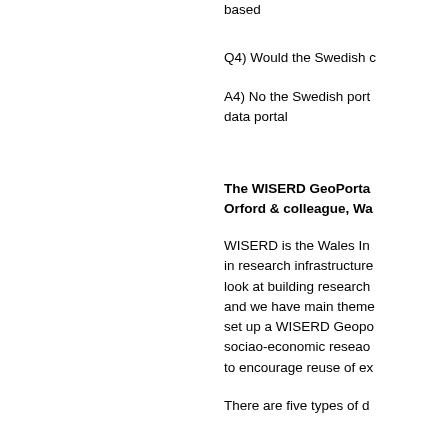based
Q4) Would the Swedish c
A4) No the Swedish port data portal
The WISERD GeoPorta Orford & colleague, Wa
WISERD is the Wales In in research infrastructure look at building research and we have main theme set up a WISERD Geopo sociao-economic reseao to encourage reuse of ex
There are five types of d